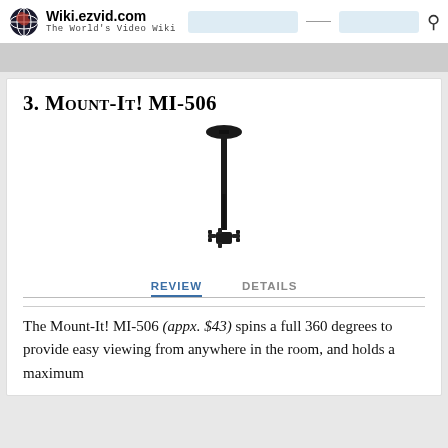Wiki.ezvid.com The World's Video Wiki
3. Mount-It! MI-506
[Figure (photo): Product photo of Mount-It! MI-506 ceiling TV mount, showing a long black pole with a ceiling bracket at top and a monitor mounting bracket at the bottom.]
REVIEW    DETAILS
The Mount-It! MI-506 (appx. $43) spins a full 360 degrees to provide easy viewing from anywhere in the room, and holds a maximum